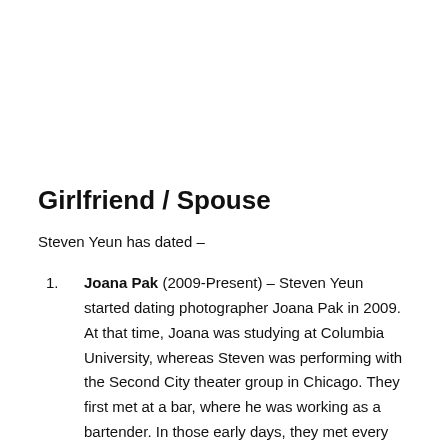Girlfriend / Spouse
Steven Yeun has dated –
Joana Pak (2009-Present) – Steven Yeun started dating photographer Joana Pak in 2009. At that time, Joana was studying at Columbia University, whereas Steven was performing with the Second City theater group in Chicago. They first met at a bar, where he was working as a bartender. In those early days, they met every day